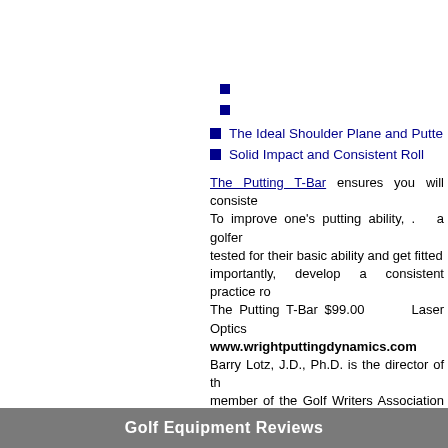■
■
■ The Ideal Shoulder Plane and Putter
■ Solid Impact and Consistent Roll
The Putting T-Bar ensures you will consiste... To improve one's putting ability, . a golfer tested for their basic ability and get fitted importantly, develop a consistent practice ro... The Putting T-Bar $99.00 Laser Optics www.wrightputtingdynamics.com Barry Lotz, J.D., Ph.D. is the director of th... member of the Golf Writers Association of... both as a Consultant and Mediator to the go... "333 Best Web Sites for Golfers", "How to R... Ten Golf Business Book's bestseller list. Hi... 2012 is already in its third printing. He can be reached at drlotz@cbsgolf.net
Golf Equipment Reviews